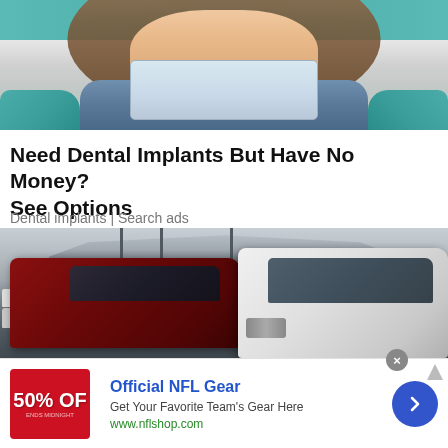[Figure (photo): Photo of a woman patient in a dental chair, wearing a denim jacket, with a dental professional in teal scrubs and gloves visible, holding a clipboard]
Need Dental Implants But Have No Money? See Options
Dental implants | Search ads
[Figure (photo): Aerial photo of a large car lot or shipping port with hundreds of vehicles densely packed, with MSC cargo ships and cranes visible in the background. In the foreground are a dark red SUV and a white FJ Cruiser-style SUV.]
[Figure (infographic): Advertisement banner for Official NFL Gear from nflshop.com featuring a red 50% OFF logo box on left, blue text title 'Official NFL Gear', description 'Get Your Favorite Team's Gear Here', green URL 'www.nflshop.com', and a blue circular arrow button on the right. A small close X button and info icon are visible.]